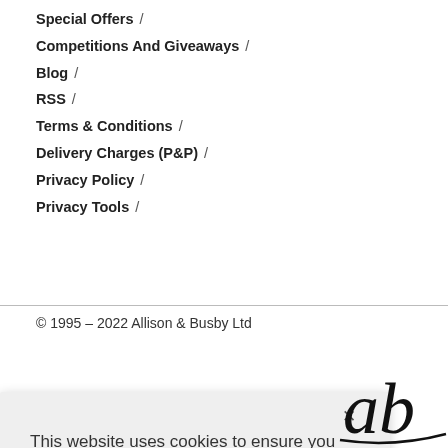Special Offers /
Competitions And Giveaways /
Blog /
RSS /
Terms & Conditions /
Delivery Charges (P&P) /
Privacy Policy /
Privacy Tools /
© 1995 – 2022 Allison & Busby Ltd
This website uses cookies to ensure you get the best experience on our website.

Learn more

Decline  Accept
[Figure (logo): Allison & Busby logo partially visible at bottom right]